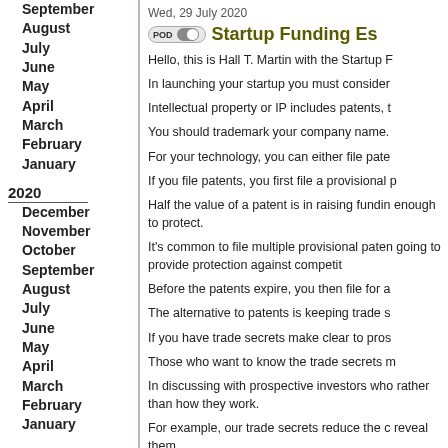September
August
July
June
May
April
March
February
January
2020
December
November
October
September
August
July
June
May
April
March
February
January
2019
December
November
October
September
August
July
June
May
Wed, 29 July 2020
Startup Funding Es
Hello, this is Hall T. Martin with the Startup F
In launching your startup you must consider
Intellectual property or IP includes patents, t
You should trademark your company name.
For your technology, you can either file pate
If you file patents, you first file a provisional p
Half the value of a patent is in raising fundin enough to protect.
It's common to file multiple provisional paten going to provide protection against competit
Before the patents expire, you then file for a
The alternative to patents is keeping trade s
If you have trade secrets make clear to pros
Those who want to know the trade secrets m
In discussing with prospective investors who rather than how they work.
For example, our trade secrets reduce the c reveal them.
Thank you for joining us for the Startup Fun